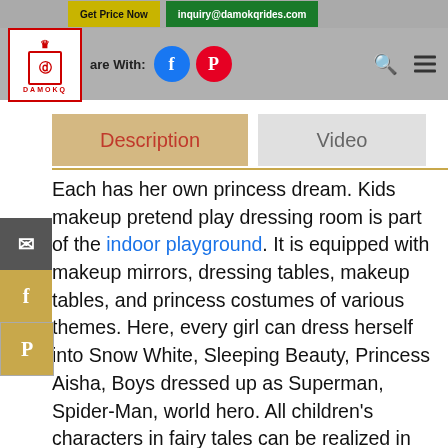Get Price Now | inquiry@damokqrides.com
[Figure (logo): DAMOKQ logo - red bordered box with crown and emblem]
Share With: [Facebook] [Pinterest]
Description | Video
Each has her own princess dream. Kids makeup pretend play dressing room is part of the indoor playground. It is equipped with makeup mirrors, dressing tables, makeup tables, and princess costumes of various themes. Here, every girl can dress herself into Snow White, Sleeping Beauty, Princess Aisha, Boys dressed up as Superman, Spider-Man, world hero. All children's characters in fairy tales can be realized in the soft playground.